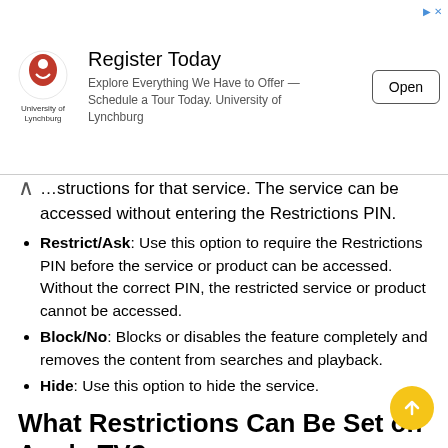[Figure (other): University of Lynchburg advertisement banner with logo, 'Register Today' heading, description text, and Open button]
…structions for that service. The service can be accessed without entering the Restrictions PIN.
Restrict/Ask: Use this option to require the Restrictions PIN before the service or product can be accessed. Without the correct PIN, the restricted service or product cannot be accessed.
Block/No: Blocks or disables the feature completely and removes the content from searches and playback.
Hide: Use this option to hide the service.
What Restrictions Can Be Set on Apple TV?
Here are some examples of the most commonly-requested types of restrictions and parental controls that you can set on your Apple TV. Older Apple TVs may not have access to…